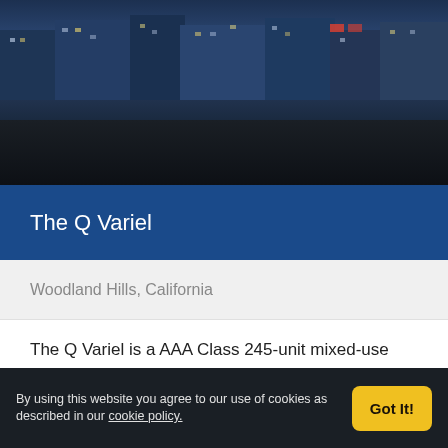[Figure (photo): Nighttime aerial photo of The Q Variel mixed-use building in Woodland Hills, California, with light streaks from car traffic on the road in front]
The Q Variel
Woodland Hills, California
The Q Variel is a AAA Class 245-unit mixed-use community that opened in October 2020.
VISIT SITE
By using this website you agree to our use of cookies as described in our cookie policy.